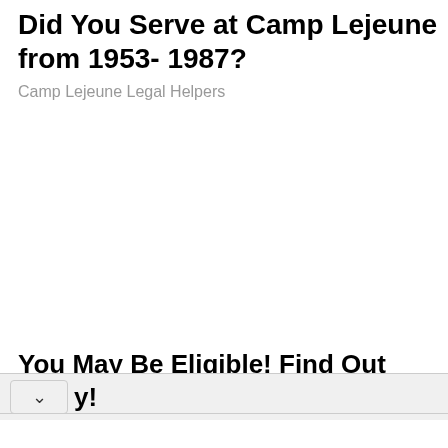Did You Serve at Camp Lejeune from 1953- 1987?
Camp Lejeune Legal Helpers
You May Be Eligible! Find Out Today!